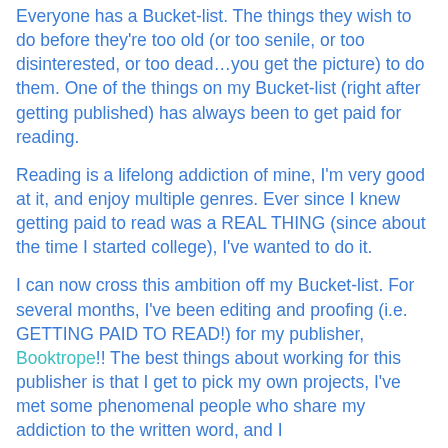Everyone has a Bucket-list. The things they wish to do before they're too old (or too senile, or too disinterested, or too dead…you get the picture) to do them. One of the things on my Bucket-list (right after getting published) has always been to get paid for reading.
Reading is a lifelong addiction of mine, I'm very good at it, and enjoy multiple genres. Ever since I knew getting paid to read was a REAL THING (since about the time I started college), I've wanted to do it.
I can now cross this ambition off my Bucket-list. For several months, I've been editing and proofing (i.e. GETTING PAID TO READ!) for my publisher, Booktrope!! The best things about working for this publisher is that I get to pick my own projects, I've met some phenomenal people who share my addiction to the written word, and I